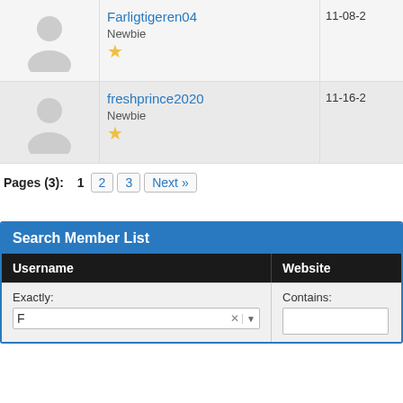| Avatar | Username/Rank | Date |
| --- | --- | --- |
| [avatar] | Farligtigeren04
Newbie
★ | 11-08-2... |
| [avatar] | freshprince2020
Newbie
★ | 11-16-2... |
Pages (3): 1  2  3  Next »
Search Member List
| Username | Website |
| --- | --- |
| Exactly: F | Contains: |